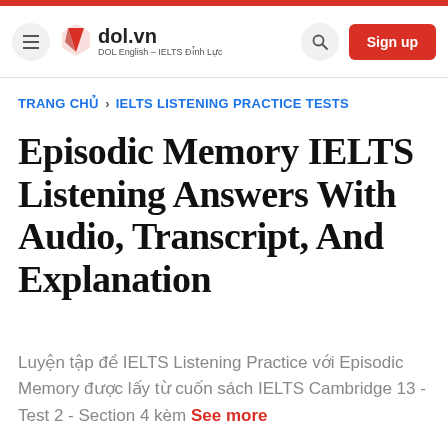dol.vn | DOL English - IELTS Dinh Luc | Sign up
TRANG CHỦ > IELTS LISTENING PRACTICE TESTS
Episodic Memory IELTS Listening Answers With Audio, Transcript, And Explanation
Luyện tập đề IELTS Listening Practice với Episodic Memory được lấy từ cuốn sách IELTS Cambridge 13 - Test 2 - Section 4 kèm See more